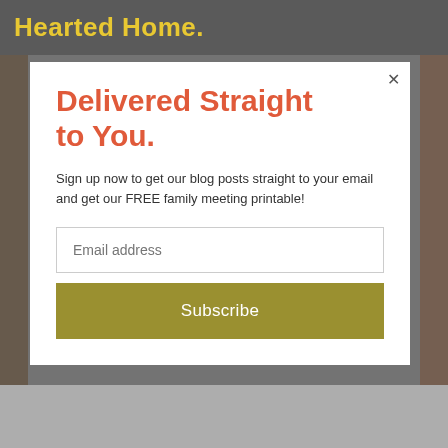Hearted Home.
[Figure (photo): Background photo collage of family images on gray background]
Delivered Straight to You.
Sign up now to get our blog posts straight to your email and get our FREE family meeting printable!
Email address
Subscribe